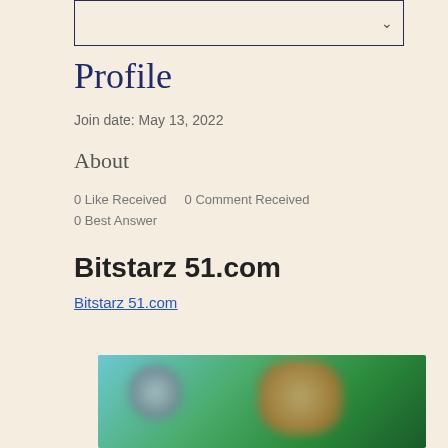Profile
Join date: May 13, 2022
About
0 Like Received    0 Comment Received
0 Best Answer
Bitstarz 51.com
Bitstarz 51.com
[Figure (photo): Blurred image showing two faces or figures against a teal/green background]